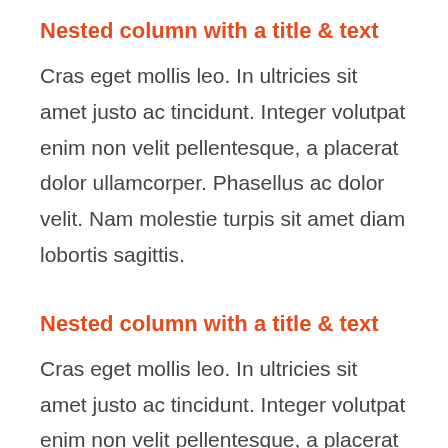Nested column with a title & text
Cras eget mollis leo. In ultricies sit amet justo ac tincidunt. Integer volutpat enim non velit pellentesque, a placerat dolor ullamcorper. Phasellus ac dolor velit. Nam molestie turpis sit amet diam lobortis sagittis.
Nested column with a title & text
Cras eget mollis leo. In ultricies sit amet justo ac tincidunt. Integer volutpat enim non velit pellentesque, a placerat dolor ullamcorper. Phasellus ac dolor velit. Nam molestie turpis sit